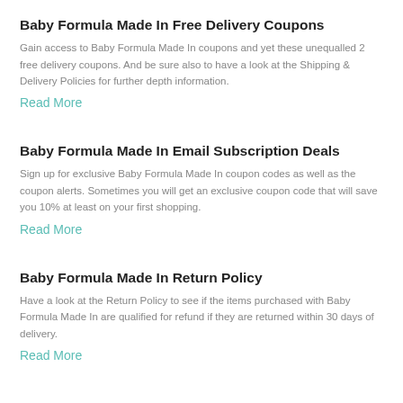Baby Formula Made In Free Delivery Coupons
Gain access to Baby Formula Made In coupons and yet these unequalled 2 free delivery coupons. And be sure also to have a look at the Shipping & Delivery Policies for further depth information.
Read More
Baby Formula Made In Email Subscription Deals
Sign up for exclusive Baby Formula Made In coupon codes as well as the coupon alerts. Sometimes you will get an exclusive coupon code that will save you 10% at least on your first shopping.
Read More
Baby Formula Made In Return Policy
Have a look at the Return Policy to see if the items purchased with Baby Formula Made In are qualified for refund if they are returned within 30 days of delivery.
Read More